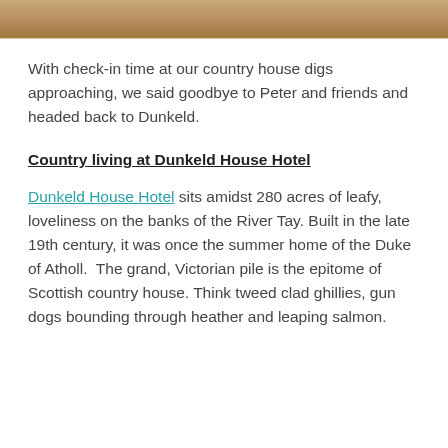[Figure (photo): Top strip of a photo showing sandy/earthy ground texture, cropped at the top of the page.]
With check-in time at our country house digs approaching, we said goodbye to Peter and friends and headed back to Dunkeld.
Country living at Dunkeld House Hotel
Dunkeld House Hotel sits amidst 280 acres of leafy, loveliness on the banks of the River Tay. Built in the late 19th century, it was once the summer home of the Duke of Atholl.  The grand, Victorian pile is the epitome of Scottish country house. Think tweed clad ghillies, gun dogs bounding through heather and leaping salmon.